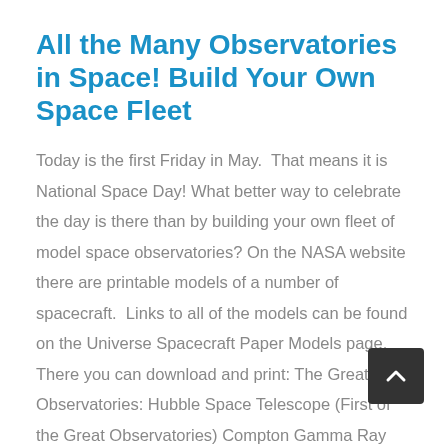All the Many Observatories in Space! Build Your Own Space Fleet
Today is the first Friday in May.  That means it is National Space Day! What better way to celebrate the day is there than by building your own fleet of model space observatories? On the NASA website there are printable models of a number of spacecraft.  Links to all of the models can be found on the Universe Spacecraft Paper Models page.  There you can download and print: The Great Observatories: Hubble Space Telescope (First of the Great Observatories) Compton Gamma Ray Observatory (Second of